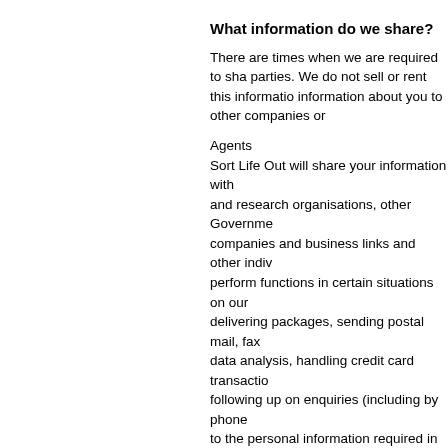What information do we share?
There are times when we are required to share information with other parties. We do not sell or rent this information. However, we may share information about you to other companies or
Agents
Sort Life Out will share your information with and research organisations, other Government companies and business links and other individuals who perform functions in certain situations on our behalf such as delivering packages, sending postal mail, fax, email, data analysis, handling credit card transactions and following up on enquiries (including by phone). Access to the personal information required in order to carry out any other purpose. This may also in certain circumstances information abroad.
Compliance with law
We will release personal information where we other rules (including auditing requirements) to share information with other companies and organisations reduction.
Changes to Privacy Policy
We may edit this policy from time to time. If we you by posting a prominent announcement or
Your Rights
You have the right to seek information of the in